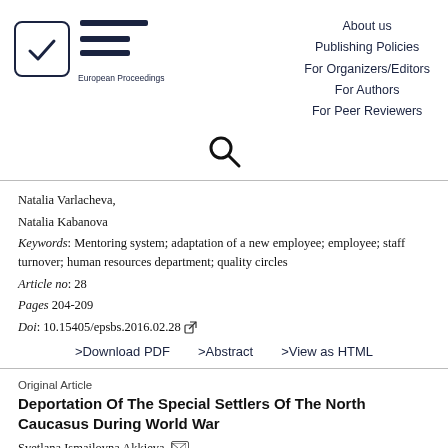[Figure (logo): European Proceedings logo with checkmark in box and EP symbol, with navigation links: About us, Publishing Policies, For Organizers/Editors, For Authors, For Peer Reviewers]
[Figure (other): Search icon (magnifying glass)]
Natalia Varlacheva,
Natalia Kabanova
Keywords: Mentoring system; adaptation of a new employee; employee; staff turnover; human resources department; quality circles
Article no: 28
Pages 204-209
Doi: 10.15405/epsbs.2016.02.28
>Download PDF  >Abstract  >View as HTML
Original Article
Deportation Of The Special Settlers Of The North Caucasus During World War
Svetlana Ismailovna Akkieva,
Zaki Salimsoyev Lachieva